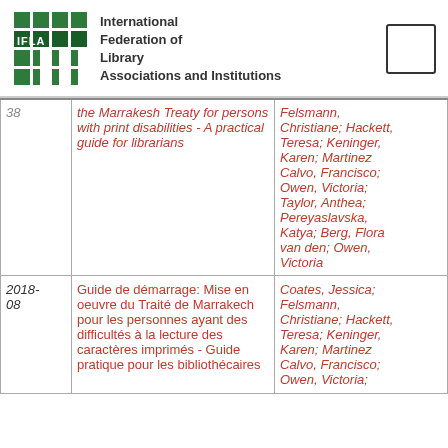International Federation of Library Associations and Institutions
| Date | Title | Authors |
| --- | --- | --- |
|  | the Marrakesh Treaty for persons with print disabilities - A practical guide for librarians | Felsmann, Christiane; Hackett, Teresa; Keninger, Karen; Martinez Calvo, Francisco; Owen, Victoria; Taylor, Anthea; Pereyaslavska, Katya; Berg, Flora van den; Owen, Victoria |
| 2018-08 | Guide de démarrage: Mise en oeuvre du Traité de Marrakech pour les personnes ayant des difficultés à la lecture des caractères imprimés - Guide pratique pour les bibliothécaires | Coates, Jessica; Felsmann, Christiane; Hackett, Teresa; Keninger, Karen; Martinez Calvo, Francisco; Owen, Victoria; |